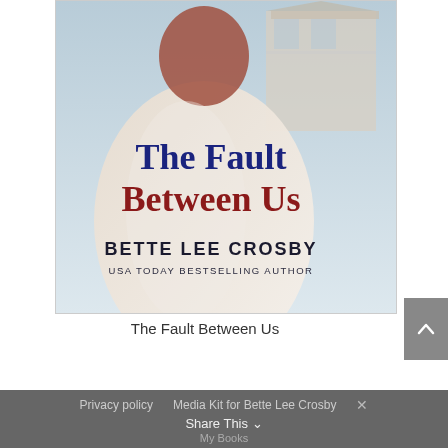[Figure (illustration): Book cover for 'The Fault Between Us' by Bette Lee Crosby, USA Today Bestselling Author. Shows a woman viewed from behind in a white dress, with a Victorian-style house in the background. Title text in large serif font, author name in bold sans-serif.]
The Fault Between Us
Privacy policy   Media Kit for Bette Lee Crosby   Share This   My Books